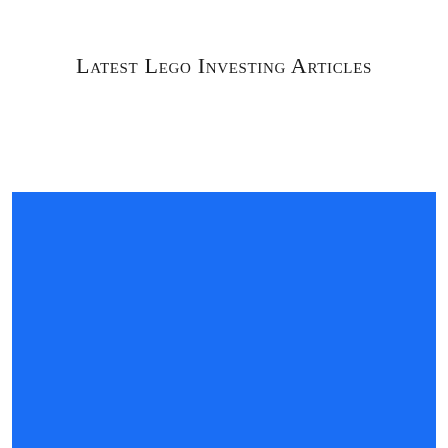Latest Lego Investing Articles
[Figure (other): Solid blue rectangle image placeholder filling the lower portion of the page]